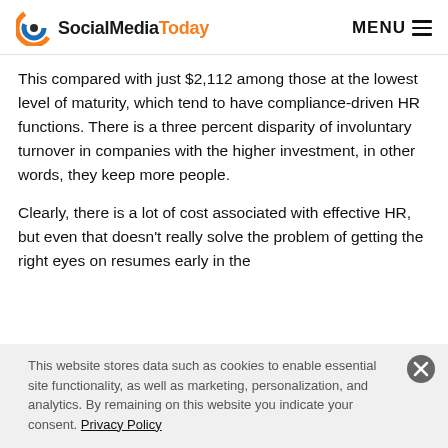SocialMediaToday MENU
This compared with just $2,112 among those at the lowest level of maturity, which tend to have compliance-driven HR functions. There is a three percent disparity of involuntary turnover in companies with the higher investment, in other words, they keep more people.
Clearly, there is a lot of cost associated with effective HR, but even that doesn’t really solve the problem of getting the right eyes on resumes early in the
This website stores data such as cookies to enable essential site functionality, as well as marketing, personalization, and analytics. By remaining on this website you indicate your consent. Privacy Policy